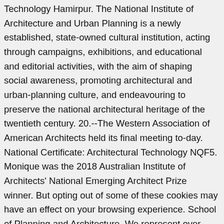Technology Hamirpur. The National Institute of Architecture and Urban Planning is a newly established, state-owned cultural institution, acting through campaigns, exhibitions, and educational and editorial activities, with the aim of shaping social awareness, promoting architectural and urban-planning culture, and endeavouring to preserve the national architectural heritage of the twentieth century. 20.--The Western Association of American Architects held its final meeting to-day. National Certificate: Architectural Technology NQF5. Monique was the 2018 Australian Institute of Architects' National Emerging Architect Prize winner. But opting out of some of these cookies may have an effect on your browsing experience. School of Planning and Architecture. We represent over 11,500 members globally, committed to raising design standards and positively shaping the places where we live, work and meet. The Department of Architecture in National Institute of Technology Tiruchirappalli was started in the academic year 1980-81. It has national and state offices across Australia. The Gold Medal is the Institute's